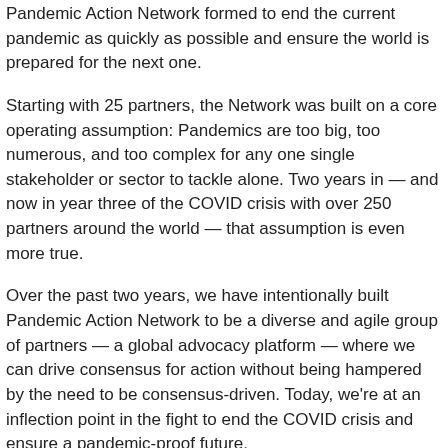Pandemic Action Network formed to end the current pandemic as quickly as possible and ensure the world is prepared for the next one.
Starting with 25 partners, the Network was built on a core operating assumption: Pandemics are too big, too numerous, and too complex for any one single stakeholder or sector to tackle alone. Two years in — and now in year three of the COVID crisis with over 250 partners around the world — that assumption is even more true.
Over the past two years, we have intentionally built Pandemic Action Network to be a diverse and agile group of partners — a global advocacy platform — where we can drive consensus for action without being hampered by the need to be consensus-driven. Today, we're at an inflection point in the fight to end the COVID crisis and ensure a pandemic-proof future.
Our Year Two Impact Report focuses on the power of the Network. It's our promise and ability to drive impact at scale.